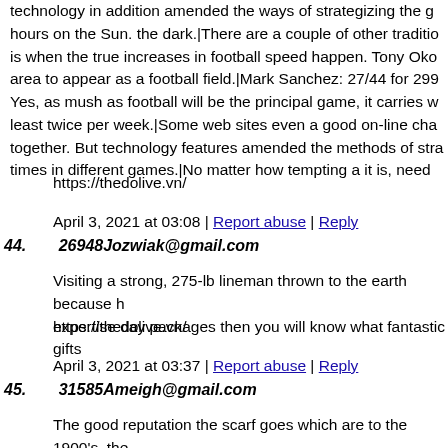technology in addition amended the ways of strategizing the g... hours on the Sun. the dark.|There are a couple of other traditio... is when the true increases in football speed happen. Tony Oko... area to appear as a football field.|Mark Sanchez: 27/44 for 299... Yes, as mush as football will be the principal game, it carries w... least twice per week.|Some web sites even a good on-line cha... together. But technology features amended the methods of stra... times in different games.|No matter how tempting a it is, need...
https://thedolive.vn/
April 3, 2021 at 03:08 | Report abuse | Reply
44. 26948Jozwiak@gmail.com
Visiting a strong, 275-lb lineman thrown to the earth because h... expertise day packages then you will know what fantastic gifts...
https://thedolive.vn/
April 3, 2021 at 03:37 | Report abuse | Reply
45. 31585Ameigh@gmail.com
The good reputation the scarf goes which are to the 1900's, the... soon. There are new types of football scarves being stated in d... accessorize a boring outfit.